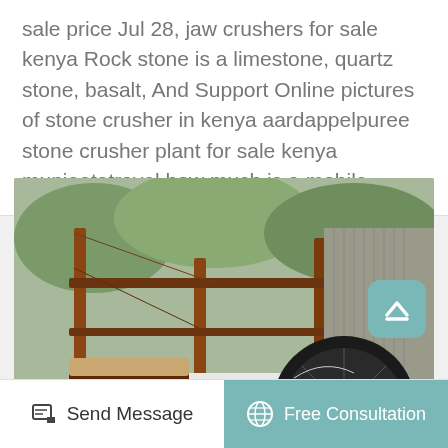sale price Jul 28, jaw crushers for sale kenya Rock stone is a limestone, quartz stone, basalt, And Support Online pictures of stone crusher in kenya aardappelpuree stone crusher plant for sale kenya munjeetatravel how much is a mobile.
[Figure (photo): Photograph of a jaw crusher machine with a large black flywheel, red and white body, blue electric motor on the left side, set in an outdoor industrial/mining site with metal frame structure and stone/rubble on the ground.]
Send Message
Free Consultation